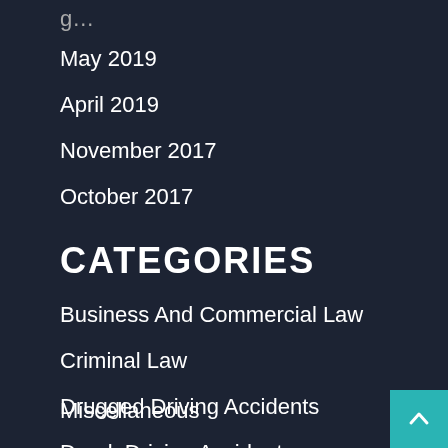g…
May 2019
April 2019
November 2017
October 2017
CATEGORIES
Business And Commercial Law
Criminal Law
Drugged Driving Accidents
Drunk Driving Accidents
Firm News
FOIA
Miscellaneous